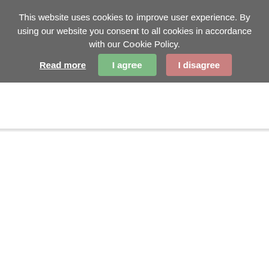This website uses cookies to improve user experience. By using our website you consent to all cookies in accordance with our Cookie Policy.
Read more
I agree
I disagree